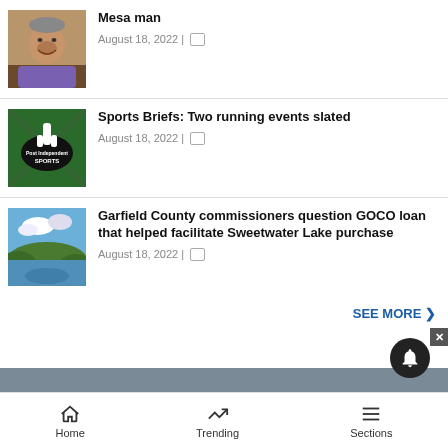[Figure (photo): Portrait photo of an older smiling man with gray hair, wearing a purple jacket]
Mesa man
August 18, 2022 |
[Figure (photo): Post Independent Sports logo – green background with white hand pointing up and black badge]
Sports Briefs: Two running events slated
August 18, 2022 |
[Figure (photo): Scenic photo of a mountain lake with clouds and green hills reflected in the water]
Garfield County commissioners question GOCO loan that helped facilitate Sweetwater Lake purchase
August 18, 2022 |
SEE MORE ❯